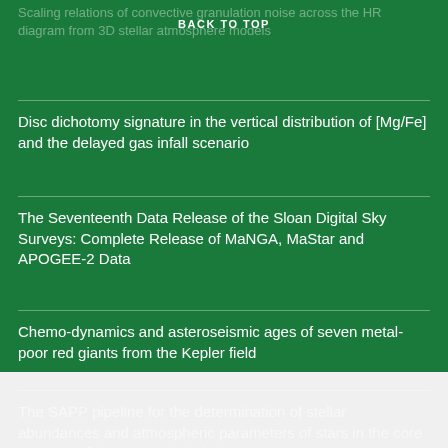Scaling relations of convective granulation noise across the HR diagram from 3D stellar atmosphere models
BACK TO TOP
Disc dichotomy signature in the vertical distribution of [Mg/Fe] and the delayed gas infall scenario
The Seventeenth Data Release of the Sloan Digital Sky Surveys: Complete Release of MaNGA, MaStar and APOGEE-2 Data
Chemo-dynamics and asteroseismic ages of seven metal-poor red giants from the Kepler field
The SAPP pipeline for the determination of stellar abundances and atmospheric parameters of stars in the core program of the PLATO mission